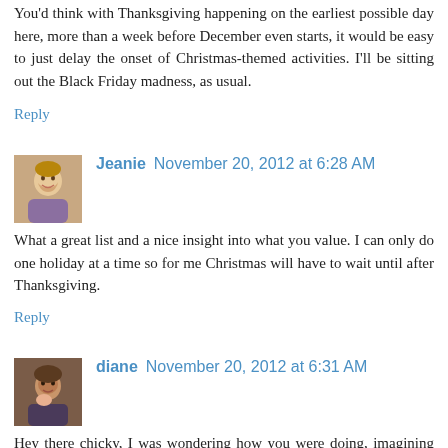You'd think with Thanksgiving happening on the earliest possible day here, more than a week before December even starts, it would be easy to just delay the onset of Christmas-themed activities. I'll be sitting out the Black Friday madness, as usual.
Reply
Jeanie  November 20, 2012 at 6:28 AM
What a great list and a nice insight into what you value. I can only do one holiday at a time so for me Christmas will have to wait until after Thanksgiving.
Reply
diane  November 20, 2012 at 6:31 AM
Hey there chicky, I was wondering how you were doing, imagining you packing your bags and moving to Ohio forever. I'm glad you're home and putting on all of the lights. Put an especially bright spotlight on a machete, hehe.
Your grammy's kitchen looks a lot like mine. We do the